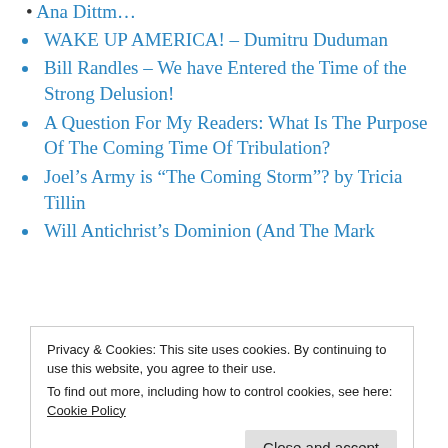WAKE UP AMERICA! – Dumitru Duduman
Bill Randles – We have Entered the Time of the Strong Delusion!
A Question For My Readers: What Is The Purpose Of The Coming Time Of Tribulation?
Joel’s Army is “The Coming Storm”? by Tricia Tillin
Will Antichrist’s Dominion (And The Mark of The Beast) Continue for All Tribulation?
Privacy & Cookies: This site uses cookies. By continuing to use this website, you agree to their use.
To find out more, including how to control cookies, see here: Cookie Policy
Health Update